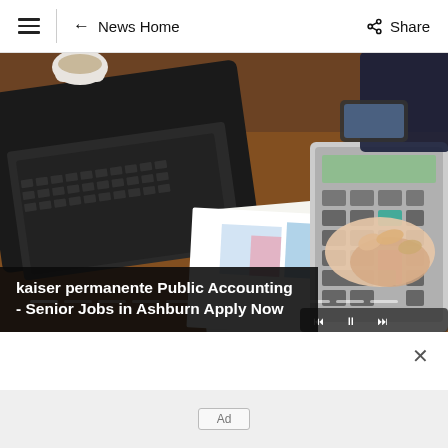≡  ← News Home    Share
[Figure (photo): Person using a calculator next to a laptop on a desk with documents and a smartphone. Office/accounting context.]
kaiser permanente Public Accounting - Senior Jobs in Ashburn Apply Now
Ad